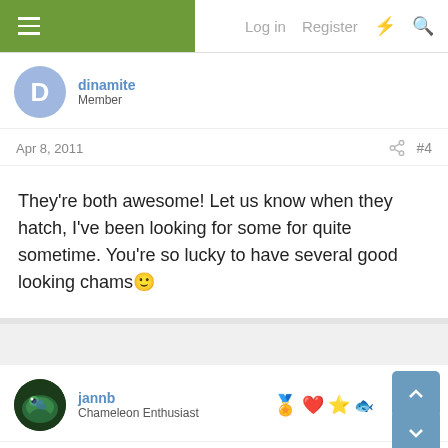Log in  Register
dinamite
Member
Apr 8, 2011   #4
They're both awesome! Let us know when they hatch, I've been looking for some for quite sometime. You're so lucky to have several good looking chams 🙂
jannb
Chameleon Enthusiast
Apr 8, 2011   #5